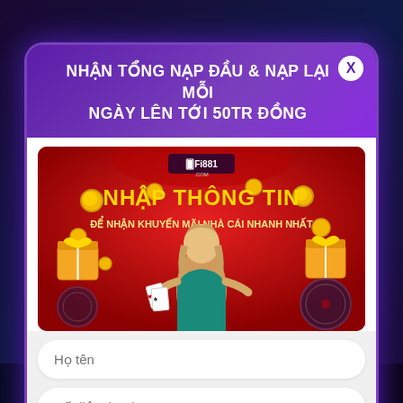NHẬN TỔNG NẠP ĐẦU & NẠP LẠI MỖI NGÀY LÊN TỚI 50TR ĐỒNG
[Figure (illustration): Fi881.com promotional banner with a woman dealing cards, gold coins, roulette wheel and text 'NHẬP THÔNG TIN ĐỂ NHẬN KHUYẾN MÃI NHÀ CÁI NHANH NHẤT' on red background]
Họ tên
Số điện thoại
KIN ĐÀO NHIỆT TINH #1